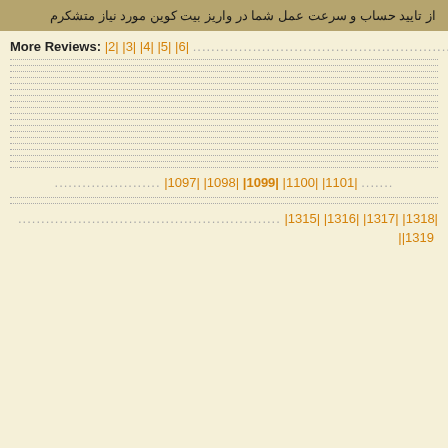از تایید حساب و سرعت عمل شما در واریز بیت کوین مورد نیاز متشکرم
More Reviews: |2| |3| |4| |5| |6|
|1097| |1098| |1099| |1100| |1101|
|1315| |1316| |1317| |1318| ||1319